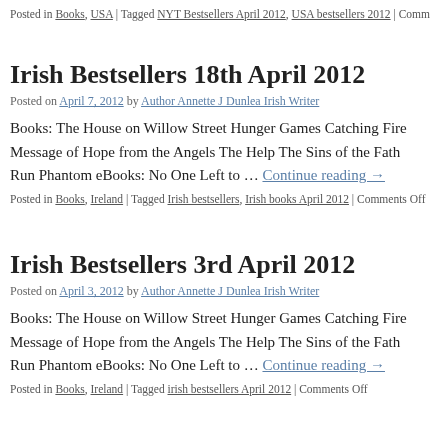Posted in Books, USA | Tagged NYT Bestsellers April 2012, USA bestsellers 2012 | Comm
Irish Bestsellers 18th April 2012
Posted on April 7, 2012 by Author Annette J Dunlea Irish Writer
Books: The House on Willow Street Hunger Games Catching Fire Message of Hope from the Angels The Help The Sins of the Fath Run Phantom eBooks: No One Left to … Continue reading →
Posted in Books, Ireland | Tagged Irish bestsellers, Irish books April 2012 | Comments Off
Irish Bestsellers 3rd April 2012
Posted on April 3, 2012 by Author Annette J Dunlea Irish Writer
Books: The House on Willow Street Hunger Games Catching Fire Message of Hope from the Angels The Help The Sins of the Fath Run Phantom eBooks: No One Left to … Continue reading →
Posted in Books, Ireland | Tagged irish bestsellers April 2012 | Comments Off